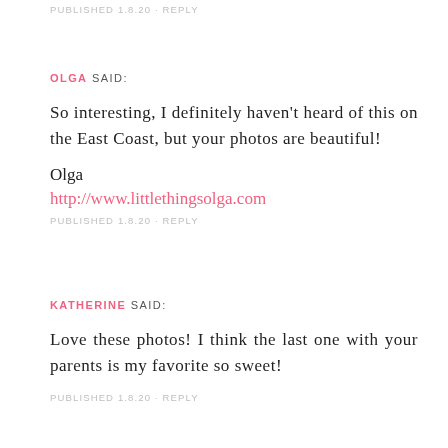PUBLISHED 1.8.20 · REPLY
OLGA SAID:
So interesting, I definitely haven't heard of this on the East Coast, but your photos are beautiful!
Olga
http://www.littlethingsolga.com
PUBLISHED 1.8.20 · REPLY
KATHERINE SAID:
Love these photos! I think the last one with your parents is my favorite so sweet!
PUBLISHED 1.8.20 · REPLY